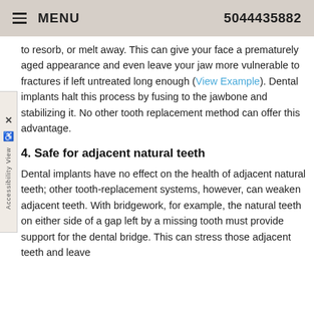MENU  5044435882
to resorb, or melt away. This can give your face a prematurely aged appearance and even leave your jaw more vulnerable to fractures if left untreated long enough (View Example). Dental implants halt this process by fusing to the jawbone and stabilizing it. No other tooth replacement method can offer this advantage.
4. Safe for adjacent natural teeth
Dental implants have no effect on the health of adjacent natural teeth; other tooth-replacement systems, however, can weaken adjacent teeth. With bridgework, for example, the natural teeth on either side of a gap left by a missing tooth must provide support for the dental bridge. This can stress those adjacent teeth and leave them more susceptible to decay while in more critical...